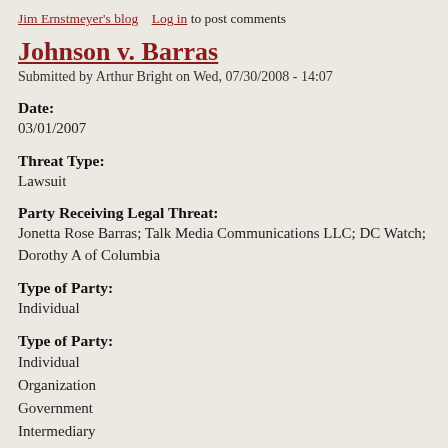Jim Ernstmeyer's blog   Log in to post comments
Johnson v. Barras
Submitted by Arthur Bright on Wed, 07/30/2008 - 14:07
Date:
03/01/2007
Threat Type:
Lawsuit
Party Receiving Legal Threat:
Jonetta Rose Barras; Talk Media Communications LLC; DC Watch; Dorothy A of Columbia
Type of Party:
Individual
Type of Party:
Individual
Organization
Government
Intermediary